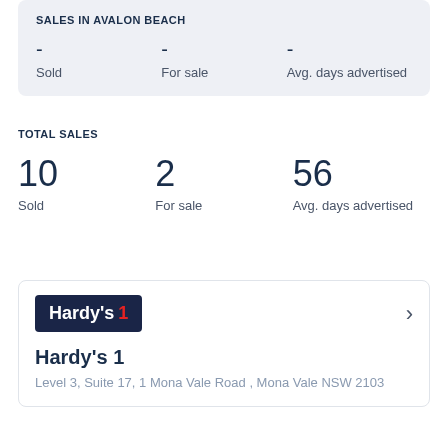SALES IN AVALON BEACH
- Sold   - For sale   - Avg. days advertised
TOTAL SALES
10 Sold   2 For sale   56 Avg. days advertised
[Figure (logo): Hardy's 1 real estate agency logo — dark navy blue background with white text 'Hardy's' and red '1']
Hardy's 1
Level 3, Suite 17, 1 Mona Vale Road , Mona Vale NSW 2103